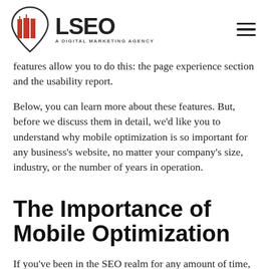LSEO — A Digital Marketing Agency
features allow you to do this: the page experience section and the usability report.
Below, you can learn more about these features. But, before we discuss them in detail, we'd like you to understand why mobile optimization is so important for any business's website, no matter your company's size, industry, or the number of years in operation.
The Importance of Mobile Optimization
If you've been in the SEO realm for any amount of time, you've probably heard the following advice regurgitated endlessly: you can't ignore mobile optimization. And we